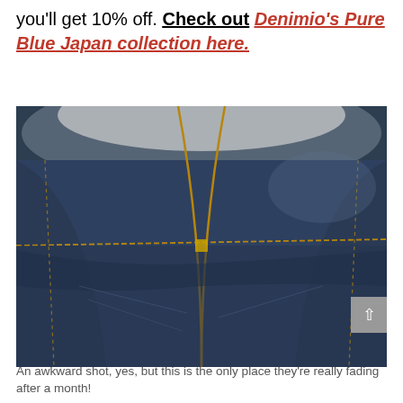you'll get 10% off. Check out Denimio's Pure Blue Japan collection here.
[Figure (photo): Close-up photo of the crotch/seat area of dark indigo selvedge denim jeans showing gold stitching detail and fading after one month of wear.]
An awkward shot, yes, but this is the only place they're really fading after a month!